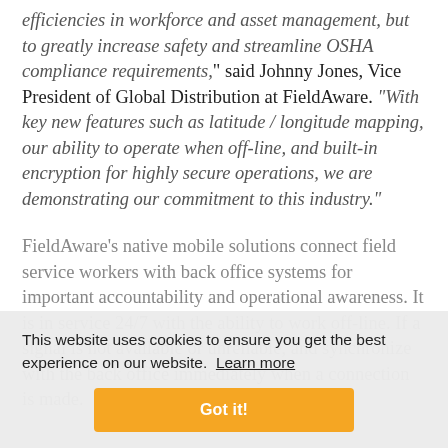efficiencies in workforce and asset management, but to greatly increase safety and streamline OSHA compliance requirements," said Johnny Jones, Vice President of Global Distribution at FieldAware. "With key new features such as latitude / longitude mapping, our ability to operate when off-line, and built-in encryption for highly secure operations, we are demonstrating our commitment to this industry."
FieldAware's native mobile solutions connect field service workers with back office systems for important accountability and operational awareness. It is in service 24/7 with the ability to work off-line. If a signal is not available or unreliable, and synchronize with the back office immediately when a connection is made.
This website uses cookies to ensure you get the best experience on our website. Learn more
Got it!